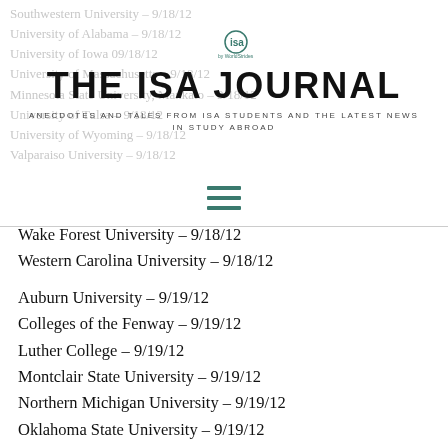[Figure (logo): ISA by WorldStrides logo — circle with 'isa' text and 'by WorldStrides' beneath]
THE ISA JOURNAL
ANECDOTES AND TALES FROM ISA STUDENTS AND THE LATEST NEWS IN STUDY ABROAD
[Figure (other): Hamburger menu icon — three horizontal green lines]
Southwestern University – 9/18/12
University of Alabama – 9/18/12
University of Iowa 09/18/12
University of Massachusetts – 9/18/12
Minnesota State University, Mankato – 9/18/12
University of Tulsa – 9/18/12
University of Wyoming – 9/18/12
Valparaiso University – 9/18/12
Wake Forest University – 9/18/12
Western Carolina University – 9/18/12
Auburn University – 9/19/12
Colleges of the Fenway – 9/19/12
Luther College – 9/19/12
Montclair State University – 9/19/12
Northern Michigan University – 9/19/12
Oklahoma State University – 9/19/12
Salve Regina University – 9/19/12